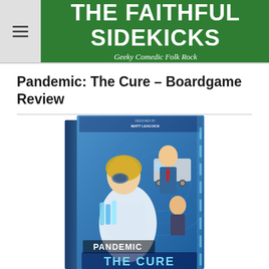THE FAITHFUL SIDEKICKS — Geeky Comedic Folk Rock
Pandemic: The Cure – Boardgame Review
[Figure (photo): Box art for Pandemic: The Cure board game, showing a blue box with characters including a female scientist holding test tubes, a man in a suit, and an ambulance in the background. The words PANDEMIC THE CURE are prominently displayed on the box.]